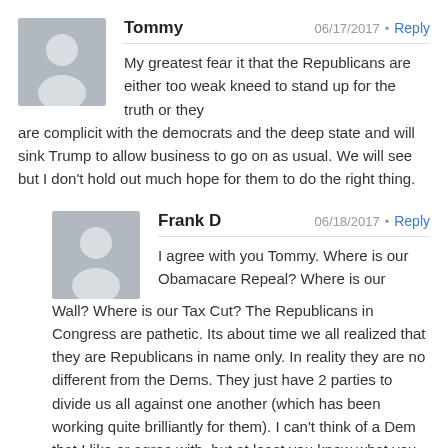Tommy  06/17/2017 · Reply
My greatest fear it that the Republicans are either too weak kneed to stand up for the truth or they are complicit with the democrats and the deep state and will sink Trump to allow business to go on as usual. We will see but I don't hold out much hope for them to do the right thing.
Frank D  06/18/2017 · Reply
I agree with you Tommy. Where is our Obamacare Repeal? Where is our Wall? Where is our Tax Cut? The Republicans in Congress are pathetic. Its about time we all realized that they are Republicans in name only. In reality they are no different from the Dems. They just have 2 parties to divide us all against one another (which has been working quite brilliantly for them). I can't think of a Dem that I like or agree with, but at least you know what you get with a Dem. Republicans might be